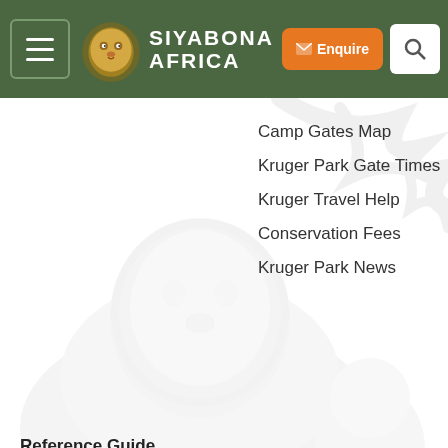Siyabona Africa
Camp Gates Map
Kruger Park Gate Times
Kruger Travel Help
Conservation Fees
Kruger Park News
Reference Guide
Africa Mammal Guide
Africa Bird Guide
African Flowers Guide
Africa Grass Guide
African Tree Guide
African Reptiles Guide
Kruger Park Culture
Kruger Park History
[Figure (illustration): Watermark illustration of a lion and tree in light gray]